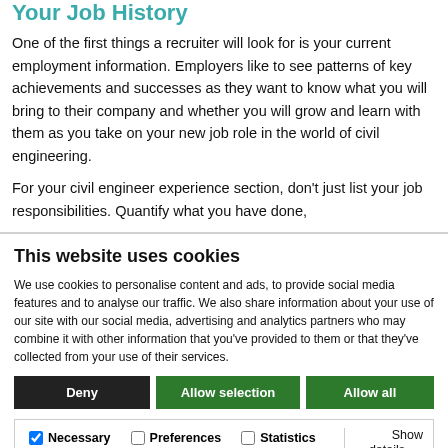Your Job History
One of the first things a recruiter will look for is your current employment information. Employers like to see patterns of key achievements and successes as they want to know what you will bring to their company and whether you will grow and learn with them as you take on your new job role in the world of civil engineering.
For your civil engineer experience section, don't just list your job responsibilities. Quantify what you have done,
This website uses cookies
We use cookies to personalise content and ads, to provide social media features and to analyse our traffic. We also share information about your use of our site with our social media, advertising and analytics partners who may combine it with other information that you've provided to them or that they've collected from your use of their services.
Deny | Allow selection | Allow all
Necessary | Preferences | Statistics | Marketing | Show details